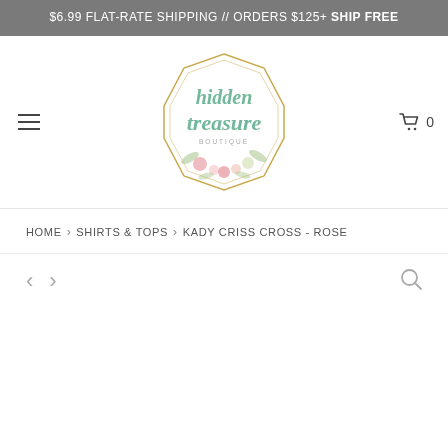$6.99 FLAT-RATE SHIPPING // ORDERS $125+ SHIP FREE
[Figure (logo): Hidden Treasure Boutique logo: geometric gold hexagon frame with script text 'hidden treasure' in mint green and 'BOUTIQUE' in small caps, decorated with watercolor flowers at the bottom]
HOME > SHIRTS & TOPS > KADY CRISS CROSS - ROSE